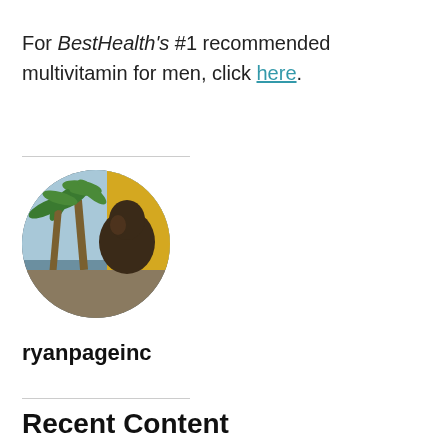For BestHealth's #1 recommended multivitamin for men, click here.
[Figure (photo): Circular profile photo of a man with palm trees and a yellow wall in the background]
ryanpageinc
Recent Content